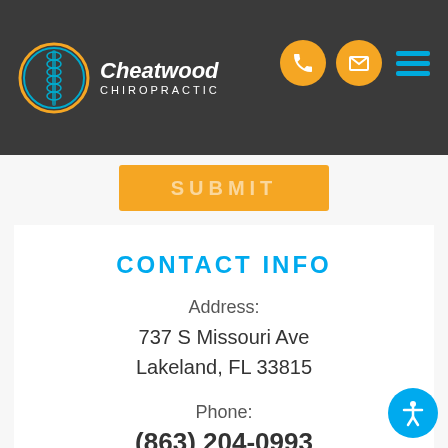[Figure (logo): Cheatwood Chiropractic logo: circular spine graphic with teal/gold ring, white text 'Cheatwood CHIROPRACTIC']
[Figure (infographic): Navigation bar icons: gold phone icon circle, gold email/envelope icon circle, teal hamburger menu icon]
[Figure (other): Partially visible gold submit button at top of content area, text reads 'SUBMIT']
CONTACT INFO
Address:
737 S Missouri Ave
Lakeland, FL 33815
Phone:
(863) 204-0993